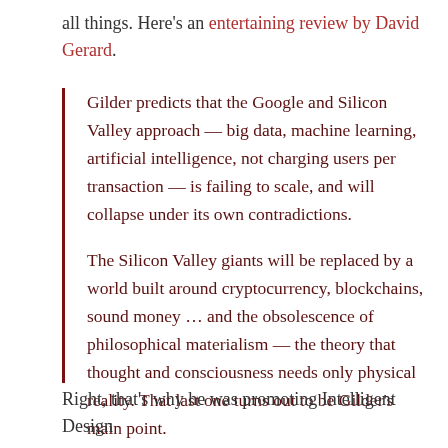all things. Here's an entertaining review by David Gerard.
Gilder predicts that the Google and Silicon Valley approach — big data, machine learning, artificial intelligence, not charging users per transaction — is failing to scale, and will collapse under its own contradictions.

The Silicon Valley giants will be replaced by a world built around cryptocurrency, blockchains, sound money … and the obsolescence of philosophical materialism — the theory that thought and consciousness needs only physical reality. That last one turns out to be Gilder's main point.
Right, that's why he was promoting Intelligent Design